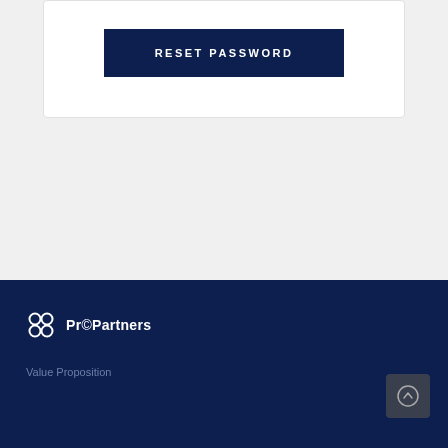[Figure (screenshot): White card panel with a dark navy 'RESET PASSWORD' button centered inside it]
ProPartners logo and Value Proposition footer link on dark navy background
Value Proposition